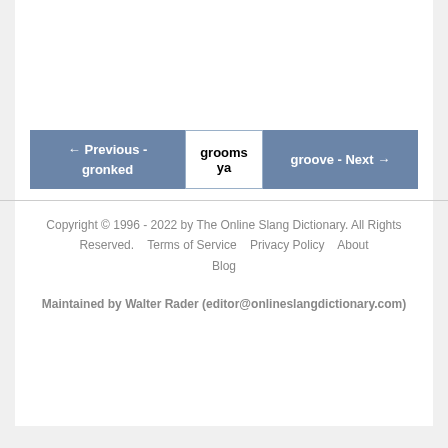← Previous - gronked    grooms ya    groove - Next →
Copyright © 1996 - 2022 by The Online Slang Dictionary. All Rights Reserved.    Terms of Service    Privacy Policy    About    Blog
Maintained by Walter Rader (editor@onlineslangdictionary.com)